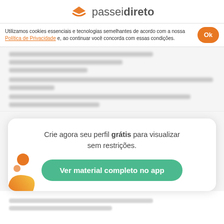passeidireto
Utilizamos cookies essenciais e tecnologias semelhantes de acordo com a nossa Política de Privacidade e, ao continuar você concorda com essas condições.
[Figure (other): Blurred/redacted document content lines]
Crie agora seu perfil grátis para visualizar sem restrições.
Ver material completo no app